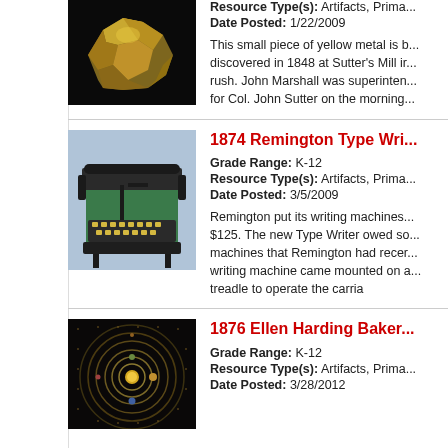[Figure (photo): Photo of a small piece of yellow metal (gold) against a black background]
Resource Type(s): Artifacts, Prima...
Date Posted: 1/22/2009
This small piece of yellow metal is b... discovered in 1848 at Sutter's Mill ir... rush. John Marshall was superinten... for Col. John Sutter on the morning...
[Figure (photo): Photo of an 1874 Remington typewriter with green body on a blue background]
1874 Remington Type Wri...
Grade Range: K-12
Resource Type(s): Artifacts, Prima...
Date Posted: 3/5/2009
Remington put its writing machines... $125. The new Type Writer owed so... machines that Remington had recer... writing machine came mounted on a... treadle to operate the carria
[Figure (photo): Photo of an 1876 Ellen Harding Baker solar system quilt with circular orbital patterns on dark background]
1876 Ellen Harding Baker...
Grade Range: K-12
Resource Type(s): Artifacts, Prima...
Date Posted: 3/28/2012